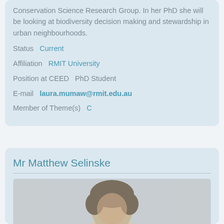Conservation Science Research Group. In her PhD she will be looking at biodiversity decision making and stewardship in urban neighbourhoods.
Status   Current
Affiliation   RMIT University
Position at CEED   PhD Student
E-mail   laura.mumaw@rmit.edu.au
Member of Theme(s)   C
Mr Matthew Selinske
[Figure (photo): Portrait photo of Mr Matthew Selinske, showing head and upper shoulders with grey-brown hair]